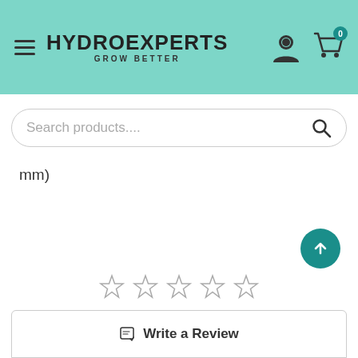HYDROEXPERTS GROW BETTER
Search products....
mm)
Write a Review